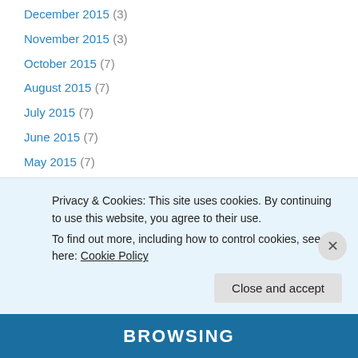December 2015 (3)
November 2015 (3)
October 2015 (7)
August 2015 (7)
July 2015 (7)
June 2015 (7)
May 2015 (7)
April 2015 (7)
March 2015 (8)
February 2015 (7)
January 2015 (7)
December 2014 (6)
Privacy & Cookies: This site uses cookies. By continuing to use this website, you agree to their use. To find out more, including how to control cookies, see here: Cookie Policy
Close and accept